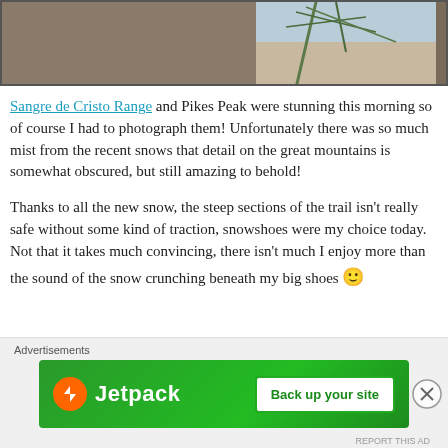[Figure (photo): Partial view of a photo showing brown rocky terrain with snow-covered branches and a light blue sky in the upper right corner.]
Sangre de Cristo Range and Pikes Peak were stunning this morning so of course I had to photograph them! Unfortunately there was so much mist from the recent snows that detail on the great mountains is somewhat obscured, but still amazing to behold!
Thanks to all the new snow, the steep sections of the trail isn't really safe without some kind of traction, snowshoes were my choice today. Not that it takes much convincing, there isn't much I enjoy more than the sound of the snow crunching beneath my big shoes 🙂
Advertisements
[Figure (screenshot): Jetpack advertisement banner with green background showing Jetpack logo on the left and a 'Back up your site' button on the right.]